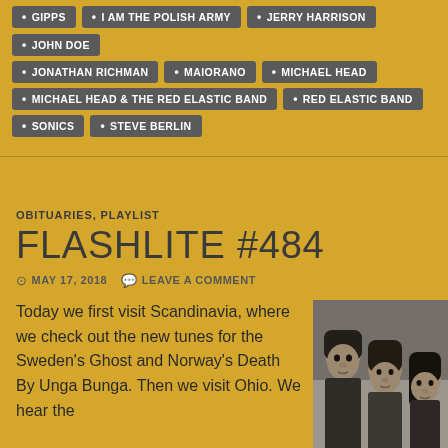GIPPS
I AM THE POLISH ARMY
JERRY HARRISON
JOHN DOE
JONATHAN RICHMAN
MAIORANO
MICHAEL HEAD
MICHAEL HEAD & THE RED ELASTIC BAND
RED ELASTIC BAND
SONICS
STEVE BERLIN
OBITUARIES, PLAYLIST
FLASHLITE #484
MAY 17, 2018  LEAVE A COMMENT
Today we first visit Scandinavia, where we check out the new tunes for the Sweden's Ghost and Norway's Death By Unga Bunga. Then we visit Ohio. We hear the
[Figure (photo): Black and white photo of three people, likely a band, with dark hair, positioned close together]